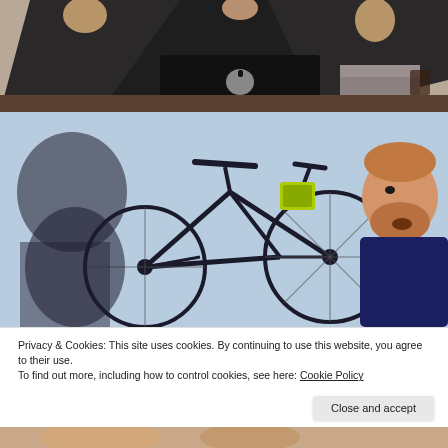[Figure (photo): Person standing behind a desk with an Apple MacBook laptop open, gesturing with hands raised]
[Figure (photo): Bearded man speaking in front of a projected image of a bicycle on a light blue background, with a shadow profile visible]
Privacy & Cookies: This site uses cookies. By continuing to use this website, you agree to their use.
To find out more, including how to control cookies, see here: Cookie Policy
[Figure (photo): Partial view of a person's face at the bottom of the page]